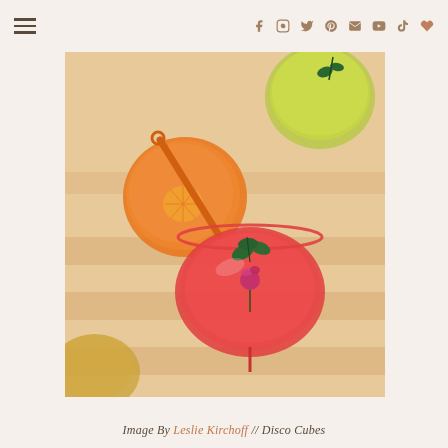navigation header with hamburger menu and social icons
[Figure (photo): Overhead flat-lay photo of colorful cocktail drinks on a warm beige surface with shadow stripes. An orange drink with an orange straw and citrus slice at top-left, a yellow-green drink at top-right, a red/coral coupe glass with a rose and mint leaves in the center, and a partial gold/champagne glass at bottom-left.]
Image By Leslie Kirchoff // Disco Cubes